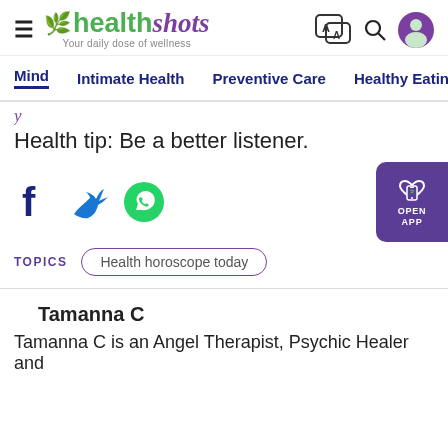healthshots — Your daily dose of wellness
Mind   Intimate Health   Preventive Care   Healthy Eating   F
Health tip: Be a better listener.
[Figure (illustration): Social share icons: Facebook (f), Twitter bird, WhatsApp green circle; and Open App button on right side]
TOPICS   Health horoscope today
Tamanna C
Tamanna C is an Angel Therapist, Psychic Healer and